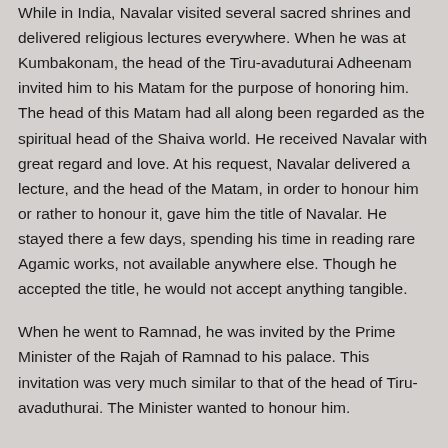While in India, Navalar visited several sacred shrines and delivered religious lectures everywhere. When he was at Kumbakonam, the head of the Tiru-avaduturai Adheenam invited him to his Matam for the purpose of honoring him. The head of this Matam had all along been regarded as the spiritual head of the Shaiva world. He received Navalar with great regard and love. At his request, Navalar delivered a lecture, and the head of the Matam, in order to honour him or rather to honour it, gave him the title of Navalar. He stayed there a few days, spending his time in reading rare Agamic works, not available anywhere else. Though he accepted the title, he would not accept anything tangible.
When he went to Ramnad, he was invited by the Prime Minister of the Rajah of Ramnad to his palace. This invitation was very much similar to that of the head of Tiru-avaduthurai. The Minister wanted to honour him.